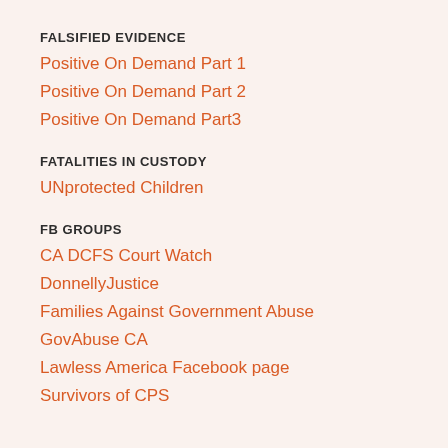FALSIFIED EVIDENCE
Positive On Demand Part 1
Positive On Demand Part 2
Positive On Demand Part3
FATALITIES IN CUSTODY
UNprotected Children
FB GROUPS
CA DCFS Court Watch
DonnellyJustice
Families Against Government Abuse
GovAbuse CA
Lawless America Facebook page
Survivors of CPS